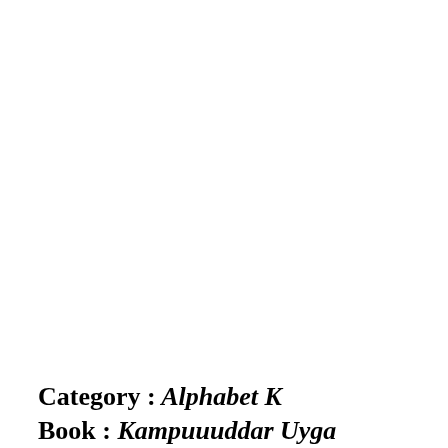Category : Alphabet K
Book : Kampuuuddar Uyga